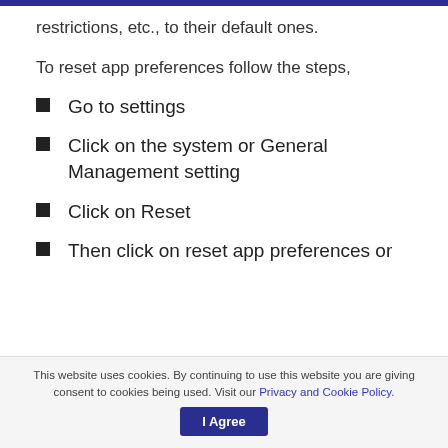restrictions, etc., to their default ones.
To reset app preferences follow the steps,
Go to settings
Click on the system or General Management setting
Click on Reset
Then click on reset app preferences or
This website uses cookies. By continuing to use this website you are giving consent to cookies being used. Visit our Privacy and Cookie Policy.
I Agree